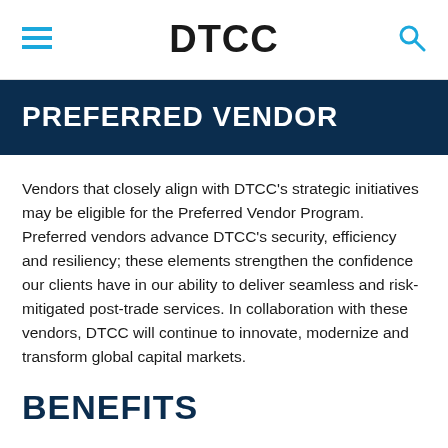DTCC
PREFERRED VENDOR
Vendors that closely align with DTCC’s strategic initiatives may be eligible for the Preferred Vendor Program. Preferred vendors advance DTCC’s security, efficiency and resiliency; these elements strengthen the confidence our clients have in our ability to deliver seamless and risk-mitigated post-trade services. In collaboration with these vendors, DTCC will continue to innovate, modernize and transform global capital markets.
BENEFITS